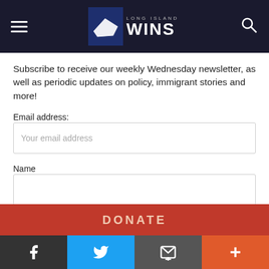[Figure (logo): Long Island WINS logo with hamburger menu and search icon on dark navy header bar]
Subscribe to receive our weekly Wednesday newsletter, as well as periodic updates on policy, immigrant stories and more!
Email address:
Your email address
Name
Sign up
DONATE